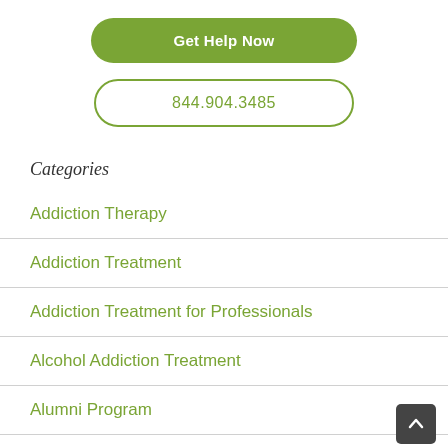Get Help Now
844.904.3485
Categories
Addiction Therapy
Addiction Treatment
Addiction Treatment for Professionals
Alcohol Addiction Treatment
Alumni Program
Cocaine Addiction Treatment